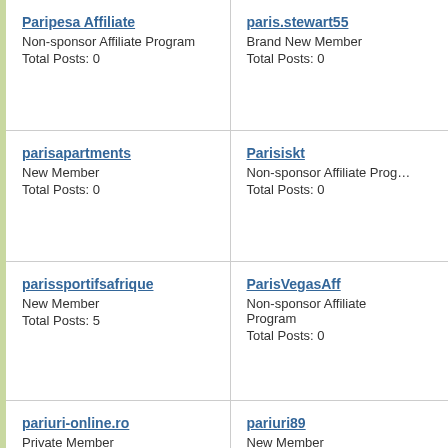Paripesa Affiliate
Non-sponsor Affiliate Program
Total Posts: 0
paris.stewart55
Brand New Member
Total Posts: 0
parisapartments
New Member
Total Posts: 0
Parisiskt
Non-sponsor Affiliate Program
Total Posts: 0
parissportifsafrique
New Member
Total Posts: 5
ParisVegasAff
Non-sponsor Affiliate Program
Total Posts: 0
pariuri-online.ro
Private Member
Total Posts: 47
pariuri89
New Member
Total Posts: 0